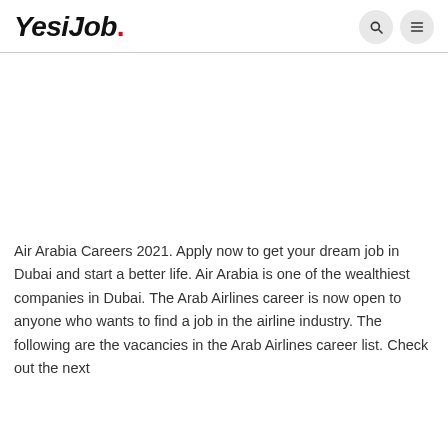YesiJob.
[Figure (other): Advertisement / blank white space area]
Air Arabia Careers 2021. Apply now to get your dream job in Dubai and start a better life. Air Arabia is one of the wealthiest companies in Dubai. The Arab Airlines career is now open to anyone who wants to find a job in the airline industry. The following are the vacancies in the Arab Airlines career list. Check out the next section